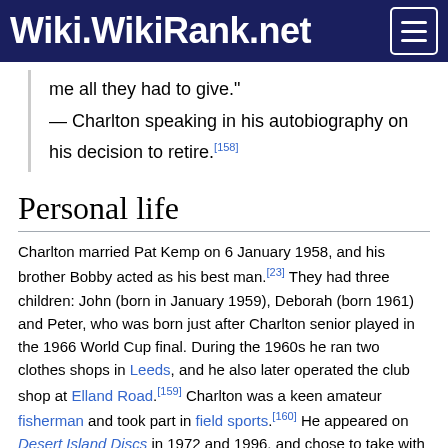Wiki.WikiRank.net
me all they had to give."
— Charlton speaking in his autobiography on his decision to retire.[158]
Personal life
Charlton married Pat Kemp on 6 January 1958, and his brother Bobby acted as his best man.[23] They had three children: John (born in January 1959), Deborah (born 1961) and Peter, who was born just after Charlton senior played in the 1966 World Cup final. During the 1960s he ran two clothes shops in Leeds, and he also later operated the club shop at Elland Road.[159] Charlton was a keen amateur fisherman and took part in field sports.[160] He appeared on Desert Island Discs in 1972 and 1996, and chose to take with him The Adventures of Tom Sawyer and Adventures of Huckleberry Finn by Mark Twain, the Encyclopaedia of How to